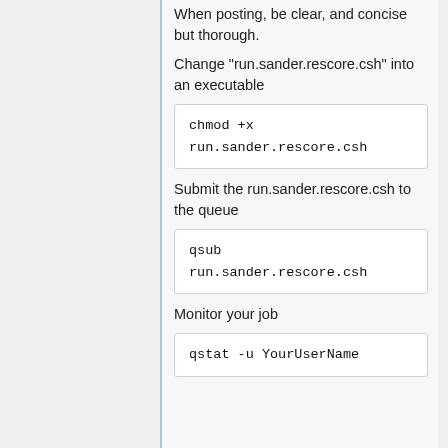When posting, be clear, and concise but thorough.
Change "run.sander.rescore.csh" into an executable
chmod +x
run.sander.rescore.csh
Submit the run.sander.rescore.csh to the queue
qsub
run.sander.rescore.csh
Monitor your job
qstat -u YourUserName